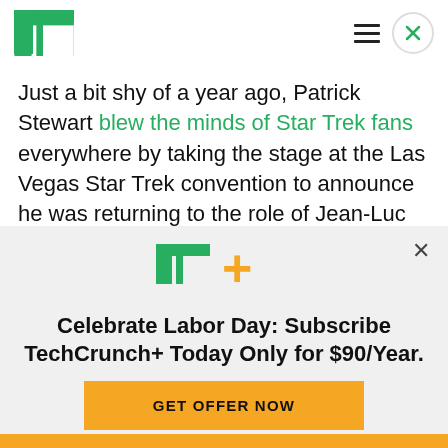TechCrunch
Just a bit shy of a year ago, Patrick Stewart blew the minds of Star Trek fans everywhere by taking the stage at the Las Vegas Star Trek convention to announce he was returning to the role of Jean-Luc Picard.
His return would come in the form of a series made
[Figure (infographic): TechCrunch+ subscription modal. Shows TC+ logo (green TC with yellow plus), headline 'Celebrate Labor Day: Subscribe TechCrunch+ Today Only for $90/Year.' and a yellow CTA button 'GET OFFER NOW'. Close X button in top right.]